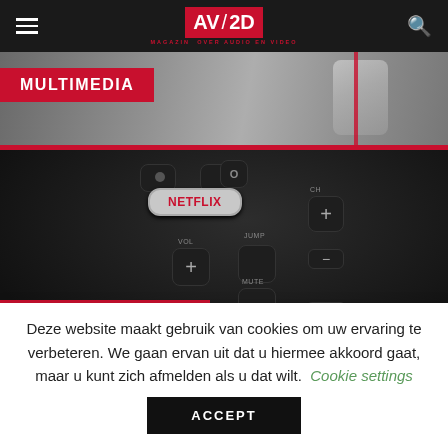AV/2D MAGAZINE OVER AUDIO EN VIDEO
[Figure (photo): Multimedia section header with red label and hand holding smartphone in background]
MULTIMEDIA
[Figure (photo): Close-up of a TV remote control with Netflix button, VOL, JUMP, MUTE, CH+ buttons visible on dark background]
ENTERTAINMENT
[Figure (photo): Red background with five red star rating icons partially visible]
Deze website maakt gebruik van cookies om uw ervaring te verbeteren. We gaan ervan uit dat u hiermee akkoord gaat, maar u kunt zich afmelden als u dat wilt.
Cookie settings
ACCEPT